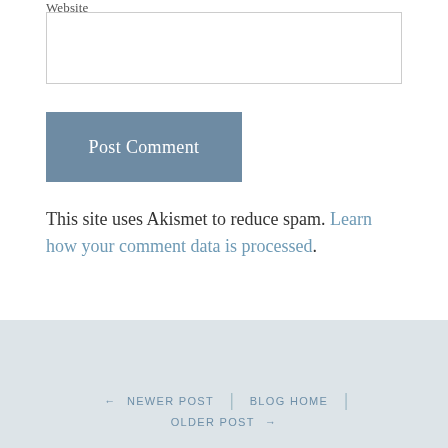Website
Post Comment
This site uses Akismet to reduce spam. Learn how your comment data is processed.
← NEWER POST  |  BLOG HOME  |  OLDER POST →